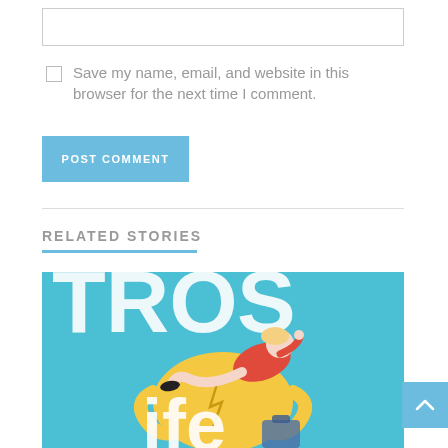Save my name, email, and website in this browser for the next time I comment.
POST COMMENT
RELATED STORIES
[Figure (illustration): Colorful illustrated book cover showing a cartoon woman with blonde hair in a red outfit reclining on a large yellow object against a teal background, with partial white text visible.]